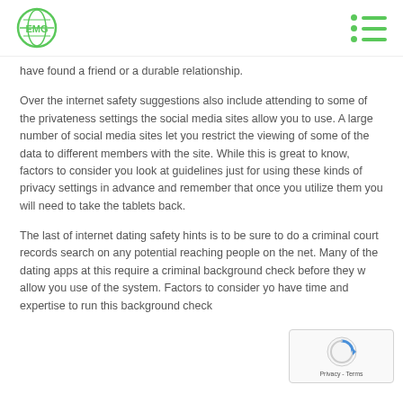EMG logo and navigation menu
have found a friend or a durable relationship.
Over the internet safety suggestions also include attending to some of the privateness settings the social media sites allow you to use. A large number of social media sites let you restrict the viewing of some of the data to different members with the site. While this is great to know, factors to consider you look at guidelines just for using these kinds of privacy settings in advance and remember that once you utilize them you will need to take the tablets back.
The last of internet dating safety hints is to be sure to do a criminal court records search on any potential reaching people on the net. Many of the dating apps at this require a criminal background check before they allow you use of the system. Factors to consider y have time and expertise to run this background check